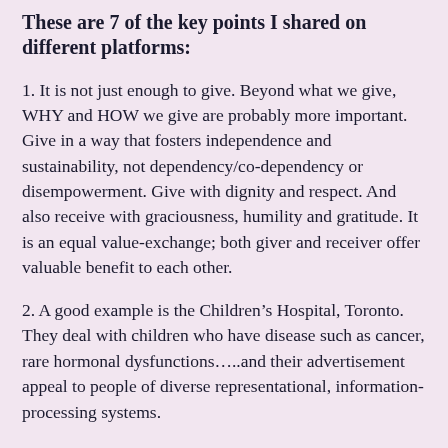These are 7 of the key points I shared on different platforms:
1. It is not just enough to give. Beyond what we give, WHY and HOW we give are probably more important. Give in a way that fosters independence and sustainability, not dependency/co-dependency or disempowerment. Give with dignity and respect. And also receive with graciousness, humility and gratitude. It is an equal value-exchange; both giver and receiver offer valuable benefit to each other.
2. A good example is the Children’s Hospital, Toronto. They deal with children who have disease such as cancer, rare hormonal dysfunctions…..and their advertisement appeal to people of diverse representational, information-processing systems.